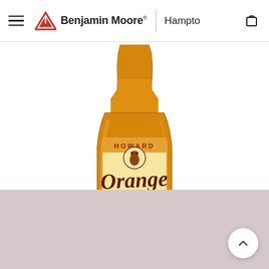Benjamin Moore | Hampto
[Figure (photo): A bottle of Howard Orange Oil Wood Polish product, showing the amber/golden colored liquid in a clear glass bottle with an orange and cream label featuring the brand name HOWARD, Orange Oil in brown script lettering, an orange fruit illustration, and text reading Wood Polish. The bottle sits against a white background with a mauve/dusty pink section at the bottom.]